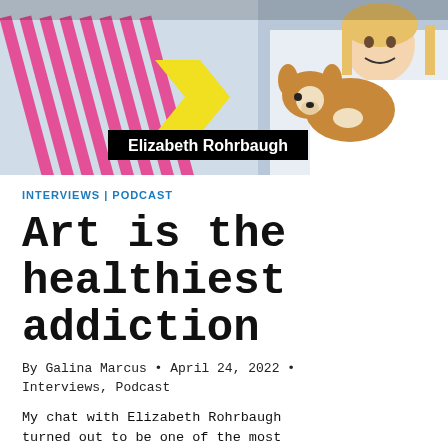[Figure (photo): Hero image showing Elizabeth Rohrbaugh smiling and holding a dog (Corgi mix), with colorful graphic design elements (pink stripes, yellow arrow shapes) on the left side. A black name badge overlay reads 'Elizabeth Rohrbaugh'.]
INTERVIEWS | PODCAST
Art is the healthiest addiction
By Galina Marcus • April 24, 2022 • Interviews, Podcast
My chat with Elizabeth Rohrbaugh turned out to be one of the most inspiring conversations I've had